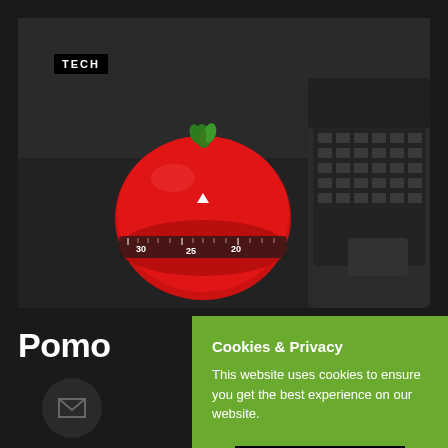[Figure (photo): A red tomato-shaped kitchen timer (Pomodoro timer) sitting on a dark surface next to an open black laptop keyboard, photographed from a low angle. The timer shows numbers 30, 25, 20 around its dial.]
Pomo
Cookies & Privacy
This website uses cookies to ensure you get the best experience on our website.
Accept